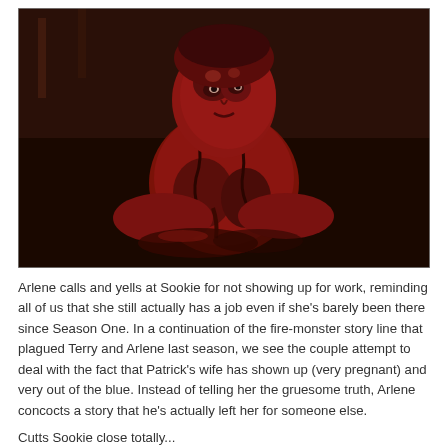[Figure (photo): A dark horror-themed photo of a figure covered in dark red blood or substance, emerging from a pool of the same dark liquid on a floor. The scene appears to be indoors with dark atmospheric lighting.]
Arlene calls and yells at Sookie for not showing up for work, reminding all of us that she still actually has a job even if she’s barely been there since Season One. In a continuation of the fire-monster story line that plagued Terry and Arlene last season, we see the couple attempt to deal with the fact that Patrick’s wife has shown up (very pregnant) and very out of the blue. Instead of telling her the gruesome truth, Arlene concocts a story that he’s actually left her for someone else.
Cutts Sookie close totally...